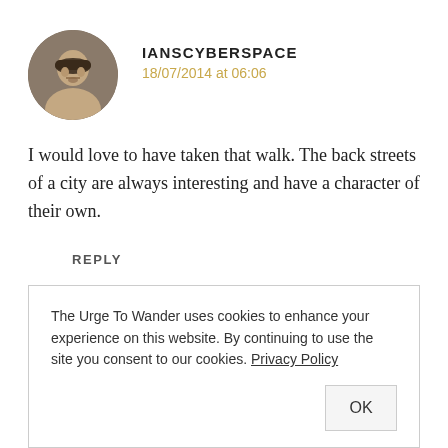IANSCYBERSPACE
18/07/2014 at 06:06
I would love to have taken that walk. The back streets of a city are always interesting and have a character of their own.
REPLY
The Urge To Wander uses cookies to enhance your experience on this website. By continuing to use the site you consent to our cookies. Privacy Policy
OK
local flavour.